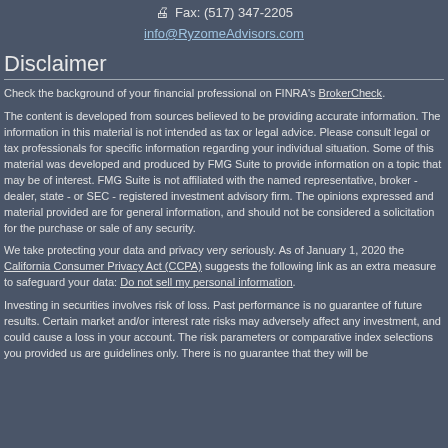Fax: (517) 347-2205
info@RyzomeAdvisors.com
Disclaimer
Check the background of your financial professional on FINRA's BrokerCheck.
The content is developed from sources believed to be providing accurate information. The information in this material is not intended as tax or legal advice. Please consult legal or tax professionals for specific information regarding your individual situation. Some of this material was developed and produced by FMG Suite to provide information on a topic that may be of interest. FMG Suite is not affiliated with the named representative, broker - dealer, state - or SEC - registered investment advisory firm. The opinions expressed and material provided are for general information, and should not be considered a solicitation for the purchase or sale of any security.
We take protecting your data and privacy very seriously. As of January 1, 2020 the California Consumer Privacy Act (CCPA) suggests the following link as an extra measure to safeguard your data: Do not sell my personal information.
Investing in securities involves risk of loss. Past performance is no guarantee of future results. Certain market and/or interest rate risks may adversely affect any investment, and could cause a loss in your account. The risk parameters or comparative index selections you provided us are guidelines only. There is no guarantee that they will be